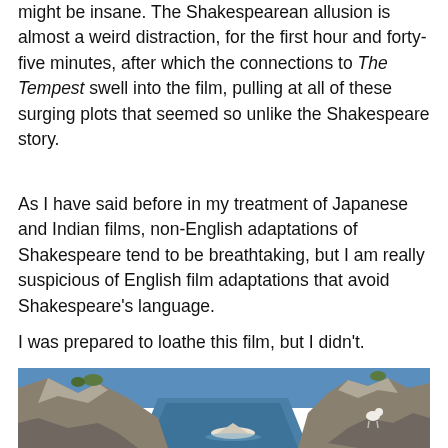might be insane. The Shakespearean allusion is almost a weird distraction, for the first hour and forty-five minutes, after which the connections to The Tempest swell into the film, pulling at all of these surging plots that seemed so unlike the Shakespeare story.
As I have said before in my treatment of Japanese and Indian films, non-English adaptations of Shakespeare tend to be breathtaking, but I am really suspicious of English film adaptations that avoid Shakespeare's language.
I was prepared to loathe this film, but I didn't.
[Figure (photo): A rocky coastal scene with a narrow inlet of blue water between large rocks. A white boat is visible in the water, and a white goat or sheep stands on the rocks to the right. The sky is blue and there is some vegetation on the cliffs.]